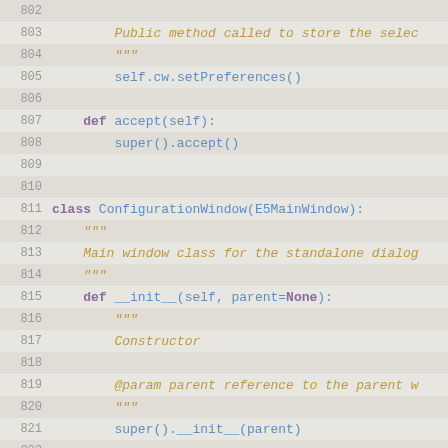[Figure (screenshot): Python source code snippet showing lines 802-828 with syntax highlighting. Lines alternate between light and slightly darker background. Line numbers are shown in gray on the left. Code includes class definitions, method definitions, docstrings in orange italic, and code in blue monospace font.]